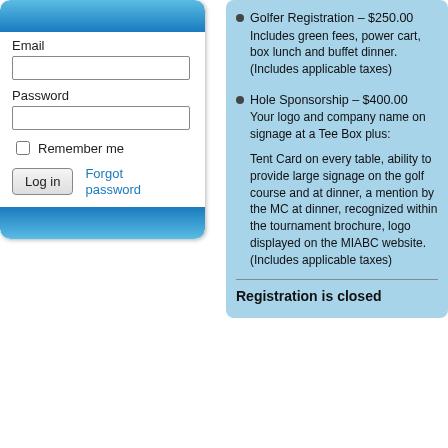[Figure (screenshot): Login form with email and password fields, remember me checkbox, log in button, and forgot password link. Has blue gradient top and bottom bars.]
Golfer Registration – $250.00
Includes green fees, power cart, box lunch and buffet dinner. (Includes applicable taxes)
Hole Sponsorship – $400.00
Your logo and company name on signage at a Tee Box plus:

Tent Card on every table, ability to provide large signage on the golf course and at dinner, a mention by the MC at dinner, recognized within the tournament brochure, logo displayed on the MIABC website. (Includes applicable taxes)
Registration is closed